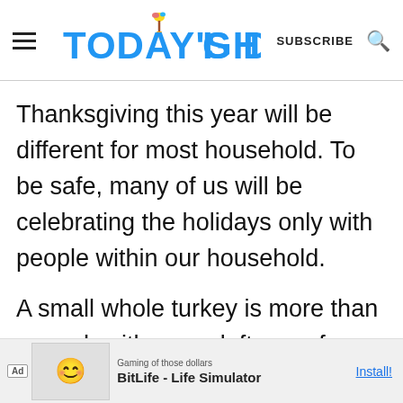TODAY'S DELIGHT | SUBSCRIBE
Thanksgiving this year will be different for most household. To be safe, many of us will be celebrating the holidays only with people within our household.
A small whole turkey is more than enough with some leftovers for a family of 4 or with just the two of you... man...
[Figure (screenshot): Advertisement banner for BitLife - Life Simulator app with emoji graphics and Install button]